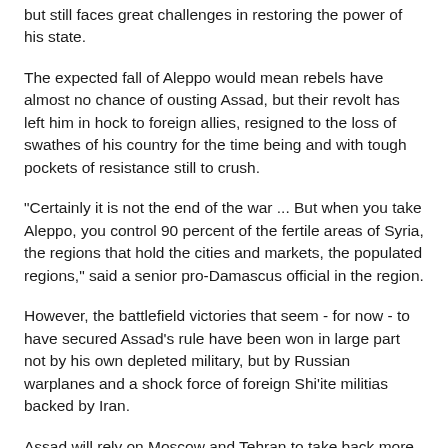but still faces great challenges in restoring the power of his state.
The expected fall of Aleppo would mean rebels have almost no chance of ousting Assad, but their revolt has left him in hock to foreign allies, resigned to the loss of swathes of his country for the time being and with tough pockets of resistance still to crush.
"Certainly it is not the end of the war ... But when you take Aleppo, you control 90 percent of the fertile areas of Syria, the regions that hold the cities and markets, the populated regions," said a senior pro-Damascus official in the region.
However, the battlefield victories that seem - for now - to have secured Assad's rule have been won in large part not by his own depleted military, but by Russian warplanes and a shock force of foreign Shi'ite militias backed by Iran.
Assad will rely on Moscow and Tehran to take back more